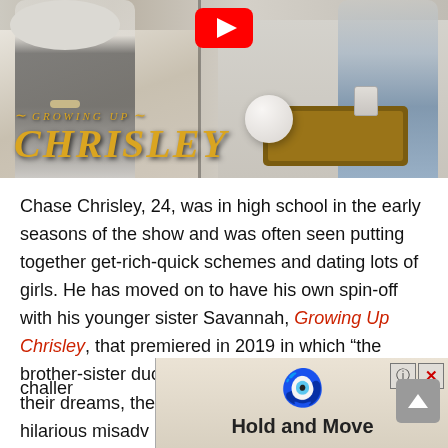[Figure (screenshot): YouTube thumbnail for 'Growing Up Chrisley' show, showing people on a couch with a wooden tray and decorative sphere. YouTube play button visible at top. Show title 'GROWING UP CHRISLEY' in gold text overlaid on image.]
Chase Chrisley, 24, was in high school in the early seasons of the show and was often seen putting together get-rich-quick schemes and dating lots of girls. He has moved on to have his own spin-off with his younger sister Savannah, Growing Up Chrisley, that premiered in 2019 in which "the brother-sister duo move to Los Angeles to pursue their dreams, they quickly learn through a series of hilarious misadventures that adulting comes with real challenges
[Figure (screenshot): Advertisement banner showing 'Hold and Move' app with blue human figures icon, question mark button, and X close button overlaid at bottom of page.]